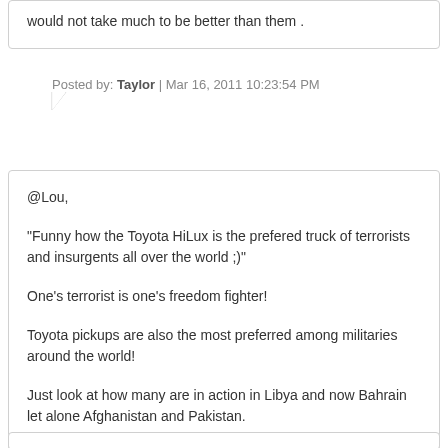would not take much to be better than them .
Posted by: Taylor | Mar 16, 2011 10:23:54 PM
@Lou,

"Funny how the Toyota HiLux is the prefered truck of terrorists and insurgents all over the world ;)"

One's terrorist is one's freedom fighter!

Toyota pickups are also the most preferred among militaries around the world!

Just look at how many are in action in Libya and now Bahrain let alone Afghanistan and Pakistan.

Heck even the U.S. military is still buying up-armored Toyota pickups for Afghanistan.

Then you have the global UN fleet of pickups and so on...
Posted by: oxi | Mar 17, 2011 1:51:48 AM